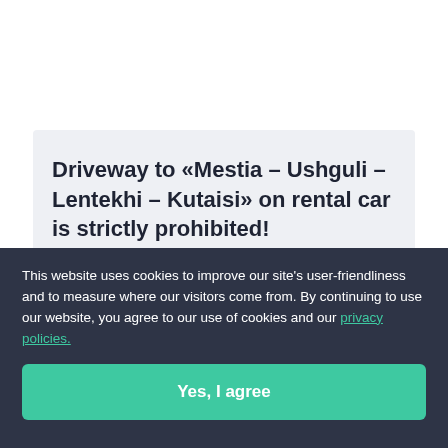Driveway to «Mestia – Ushguli – Lentekhi – Kutaisi» on rental car is strictly prohibited!
This website uses cookies to improve our site's user-friendliness and to measure where our visitors come from. By continuing to use our website, you agree to our use of cookies and our privacy policies.
Yes, I agree